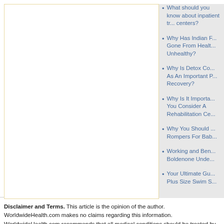What should you know about inpatient treatment centers?
Why Has Indian Food Gone From Healthy To Unhealthy?
Why Is Detox Considered As An Important Part Of Recovery?
Why Is It Important That You Consider A Rehabilitation Center
Why You Should Buy Rompers For Babies
Working and Benefits of Boldenone Undecylenate
Your Ultimate Guide to Plus Size Swim Suits
Disclaimer and Terms. This article is the opinion of the author. WorldwideHealth.com makes no claims regarding this information. WorldwideHealth.com recommends that all medical conditions should be treated by a physician competent in treating that particular